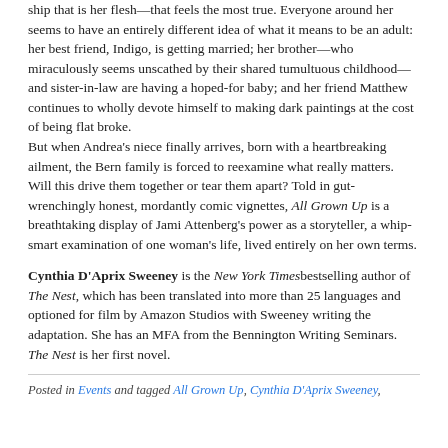ship that is her flesh—that feels the most true. Everyone around her seems to have an entirely different idea of what it means to be an adult: her best friend, Indigo, is getting married; her brother—who miraculously seems unscathed by their shared tumultuous childhood—and sister-in-law are having a hoped-for baby; and her friend Matthew continues to wholly devote himself to making dark paintings at the cost of being flat broke.
But when Andrea's niece finally arrives, born with a heartbreaking ailment, the Bern family is forced to reexamine what really matters. Will this drive them together or tear them apart? Told in gut-wrenchingly honest, mordantly comic vignettes, All Grown Up is a breathtaking display of Jami Attenberg's power as a storyteller, a whip-smart examination of one woman's life, lived entirely on her own terms.
Cynthia D'Aprix Sweeney is the New York Times bestselling author of The Nest, which has been translated into more than 25 languages and optioned for film by Amazon Studios with Sweeney writing the adaptation. She has an MFA from the Bennington Writing Seminars. The Nest is her first novel.
Posted in Events and tagged All Grown Up, Cynthia D'Aprix Sweeney,